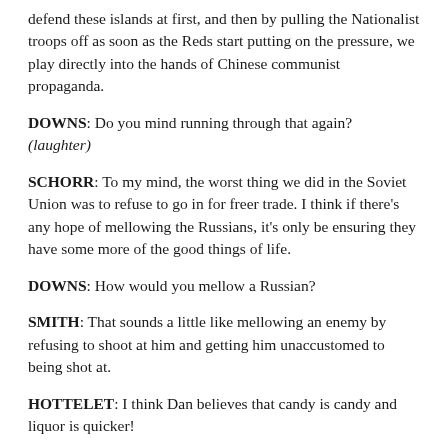defend these islands at first, and then by pulling the Nationalist troops off as soon as the Reds start putting on the pressure, we play directly into the hands of Chinese communist propaganda.
DOWNS: Do you mind running through that again? (laughter)
SCHORR: To my mind, the worst thing we did in the Soviet Union was to refuse to go in for freer trade. I think if there's any hope of mellowing the Russians, it's only be ensuring they have some more of the good things of life.
DOWNS: How would you mellow a Russian?
SMITH: That sounds a little like mellowing an enemy by refusing to shoot at him and getting him unaccustomed to being shot at.
HOTTELET: I think Dan believes that candy is candy and liquor is quicker!